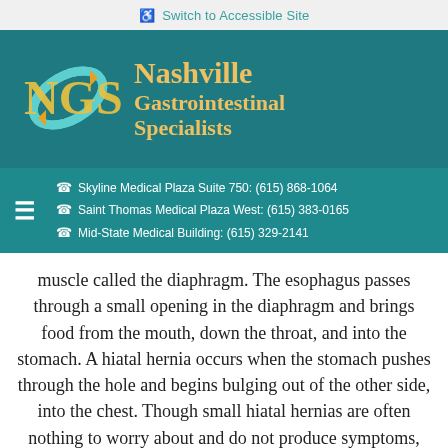Switch to Accessible Site
[Figure (logo): Nashville Gastrointestinal Specialists logo — NGS letters with teal swoosh and orange arrows]
Skyline Medical Plaza Suite 750: (615) 868-1064
Saint Thomas Medical Plaza West: (615) 383-0165
Mid-State Medical Building: (615) 329-2141
muscle called the diaphragm. The esophagus passes through a small opening in the diaphragm and brings food from the mouth, down the throat, and into the stomach. A hiatal hernia occurs when the stomach pushes through the hole and begins bulging out of the other side, into the chest. Though small hiatal hernias are often nothing to worry about and do not produce symptoms, larger